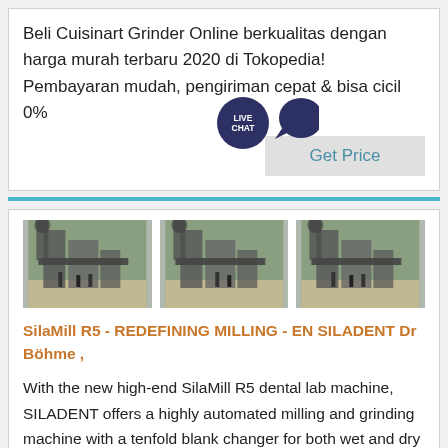Beli Cuisinart Grinder Online berkualitas dengan harga murah terbaru 2020 di Tokopedia! Pembayaran mudah, pengiriman cepat & bisa cicil 0%
[Figure (other): Live chat bubble icon (dark blue circle with LIVE CHAT text and speech bubble tail)]
[Figure (photo): Button labeled 'Get Price' on grey background]
[Figure (photo): Three photos of industrial milling machines outdoors, with workers/people standing in front of large industrial equipment]
SilaMill R5 - REDEFINING MILLING - EN SILADENT Dr Böhme ,
With the new high-end SilaMill R5 dental lab machine, SILADENT offers a highly automated milling and grinding machine with a tenfold blank changer for both wet and dry machining, bringing revolutionary ,
[Figure (other): Button labeled 'Get Price' on grey background (partially visible at bottom)]